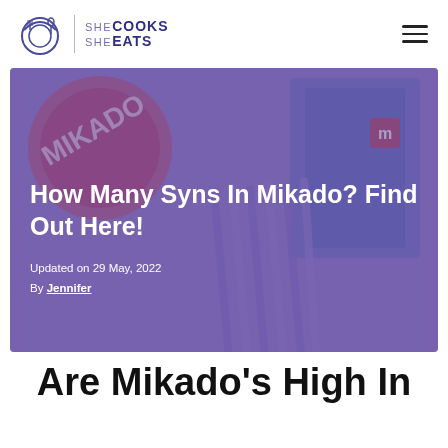SHE COOKS SHE EATS
[Figure (photo): Photo of Mikado biscuit sticks package with purple/blue tint overlay, showing the Mikado box and chocolate sticks]
How Many Syns In Mikado? Find Out Here!
Updated on 29 May, 2022
By Jennifer
Are Mikado's High In